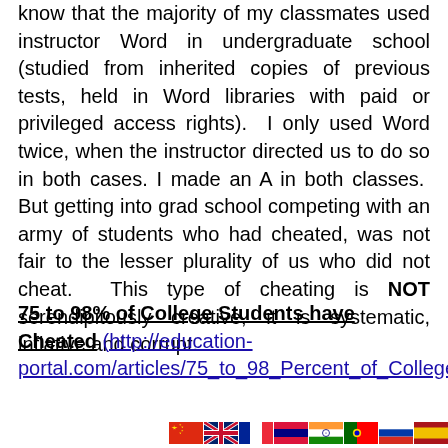know that the majority of my classmates used instructor Word in undergraduate school (studied from inherited copies of previous tests, held in Word libraries with paid or privileged access rights).  I only used Word twice, when the instructor directed us to do so in both cases. I made an A in both classes.  But getting into grad school competing with an army of students who had cheated, was not fair to the lesser plurality of us who did not cheat.  This type of cheating is NOT serendipitously creative, it is systematic, inflative and corrupt.
75 to 98% of College Students have Cheated (http://education-portal.com/articles/75_to_98_Percent_of_College_Students_Have_Cheate